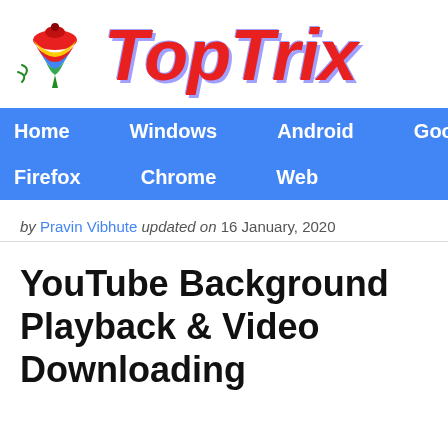[Figure (logo): TopTrix website logo with spinning top illustration and red italic bold TopTrix text]
Home  Windows  Android  Google  Firefox  Chrome  Web
by Pravin Vibhute updated on 16 January, 2020
YouTube Background Playback & Video Downloading